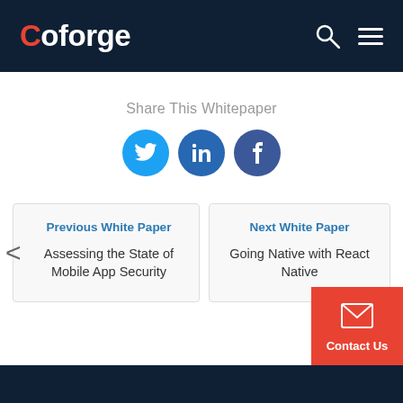Coforge
Share This Whitepaper
[Figure (infographic): Three social media share buttons: Twitter (blue bird icon), LinkedIn (in icon), Facebook (f icon)]
Previous White Paper
Assessing the State of Mobile App Security
Next White Paper
Going Native with React Native
Contact Us